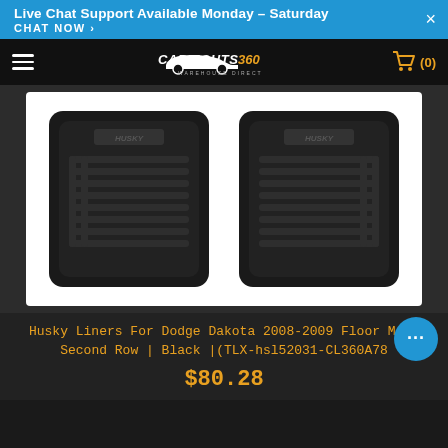Live Chat Support Available Monday – Saturday
CHAT NOW ›
[Figure (logo): CarLights360 Warehouse Direct logo on black navigation bar with hamburger menu and shopping cart icon showing (0)]
[Figure (photo): Two black Husky Liners rubber floor mats side by side on white background, showing ribbed/grooved traction pattern and Husky branding]
Husky Liners For Dodge Dakota 2008-2009 Floor Mats Second Row | Black |(TLX-hsl52031-CL360A78
$80.28